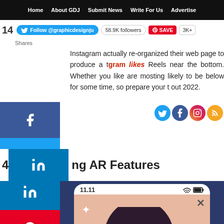Home  About GDJ  Submit News  Write For Us  Advertise
14  Follow @graphicdesignju  58.9K followers  SAVE  3K+
Shares
Instagram actually re-organized their web page to produce a Instagram likes Reels near the bottom. Whether you like are mosting likely to be below for some time, so prepare your t out 2022.
4. ng AR Features
[Figure (screenshot): Phone mockup showing AR feature with 11.11 time, cartoon illustration of dark-haired person with sparkles on peach/salmon background within a dark blue app interface]